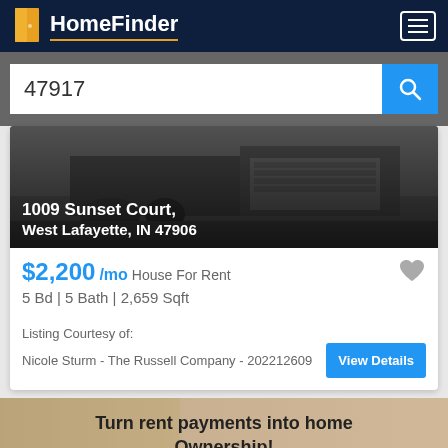HomeFinder
47917
[Figure (photo): Exterior photo of house at 1009 Sunset Court with garage and landscaping, dark overlay]
1009 Sunset Court, West Lafayette, IN 47906
$2,200 /mo House For Rent
5 Bd | 5 Bath | 2,659 Sqft
Listing Courtesy of:
Nicole Sturm - The Russell Company - 202212609
Turn rent payments into home Ownership!